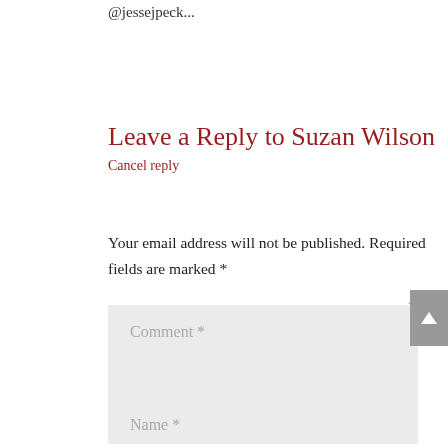@jessejpeck...
Leave a Reply to Suzan Wilson
Cancel reply
Your email address will not be published. Required fields are marked *
Comment *
Name *